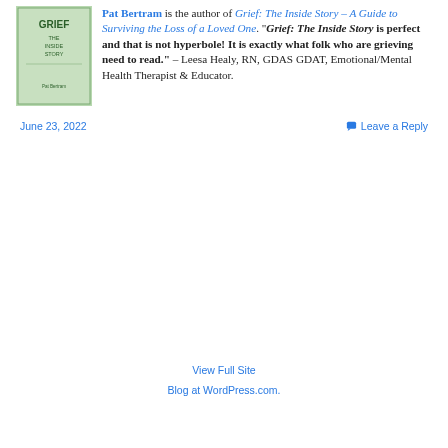[Figure (illustration): Book cover for 'Grief: The Inside Story' by Pat Bertram, green background with title text]
Pat Bertram is the author of Grief: The Inside Story – A Guide to Surviving the Loss of a Loved One. "Grief: The Inside Story is perfect and that is not hyperbole! It is exactly what folk who are grieving need to read." – Leesa Healy, RN, GDAS GDAT, Emotional/Mental Health Therapist & Educator.
June 23, 2022
Leave a Reply
View Full Site
Blog at WordPress.com.